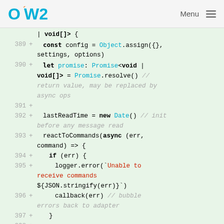OW2 | Menu
[Figure (screenshot): Code diff viewer showing lines 389-398 of a TypeScript file with added lines (green background). Lines show code including Object.assign, Promise, Date, reactToCommands with async callback, if/err handling with logger.error for 'Unable to receive commands', callback(err), and closing braces.]